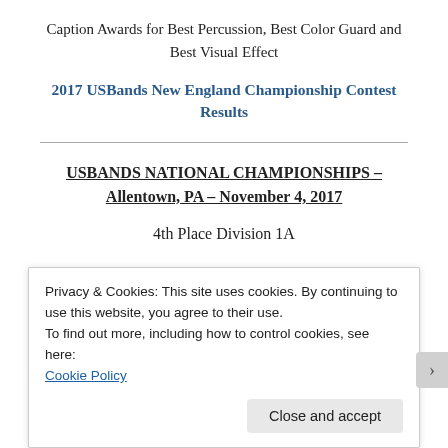Caption Awards for Best Percussion, Best Color Guard and Best Visual Effect
2017 USBands New England Championship Contest Results
USBANDS NATIONAL CHAMPIONSHIPS – Allentown, PA – November 4, 2017
4th Place Division 1A
Privacy & Cookies: This site uses cookies. By continuing to use this website, you agree to their use.
To find out more, including how to control cookies, see here:
Cookie Policy
Close and accept